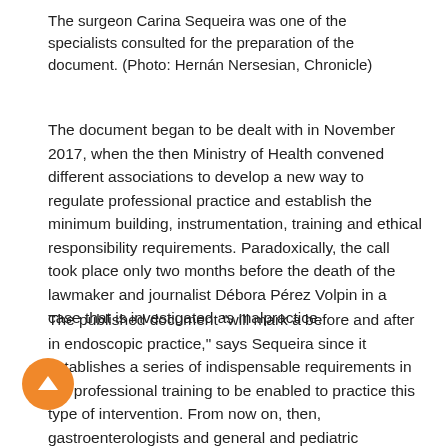The surgeon Carina Sequeira was one of the specialists consulted for the preparation of the document. (Photo: Hernán Nersesian, Chronicle)
The document began to be dealt with in November 2017, when the then Ministry of Health convened different associations to develop a new way to regulate professional practice and establish the minimum building, instrumentation, training and ethical responsibility requirements. Paradoxically, the call took place only two months before the death of the lawmaker and journalist Débora Pérez Volpin in a case that is investigated as malpractice.
The published document "will mark a before and after in endoscopic practice," says Sequeira since it establishes a series of indispensable requirements in the professional training to be enabled to practice this type of intervention. From now on, then, gastroenterologists and general and pediatric surgeons must accredit experience in the medical institutions to which they belong. "Each scientific society will be responsible for establishing